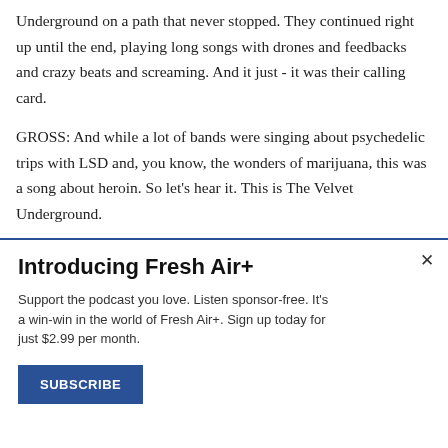Underground on a path that never stopped. They continued right up until the end, playing long songs with drones and feedbacks and crazy beats and screaming. And it just - it was their calling card.

GROSS: And while a lot of bands were singing about psychedelic trips with LSD and, you know, the wonders of marijuana, this was a song about heroin. So let's hear it. This is The Velvet Underground.
Introducing Fresh Air+
Support the podcast you love. Listen sponsor-free. It's a win-win in the world of Fresh Air+. Sign up today for just $2.99 per month.
SUBSCRIBE